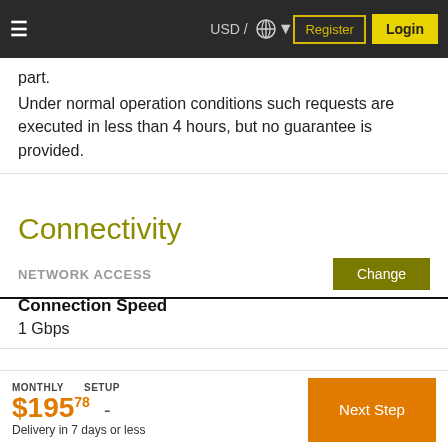USD / ☌ ▾  Register  Login
part.
Under normal operation conditions such requests are executed in less than 4 hours, but no guarantee is provided.
Connectivity
NETWORK ACCESS
Connection Speed
1 Gbps
Software
MONTHLY $195.78  SETUP -  Delivery in 7 days or less  Next Step